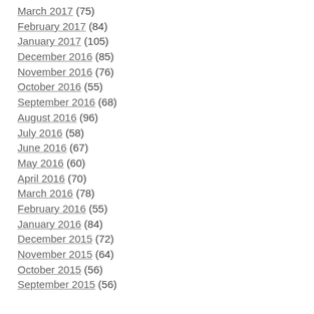March 2017 (75)
February 2017 (84)
January 2017 (105)
December 2016 (85)
November 2016 (76)
October 2016 (55)
September 2016 (68)
August 2016 (96)
July 2016 (58)
June 2016 (67)
May 2016 (60)
April 2016 (70)
March 2016 (78)
February 2016 (55)
January 2016 (84)
December 2015 (72)
November 2015 (64)
October 2015 (56)
September 2015 (56)